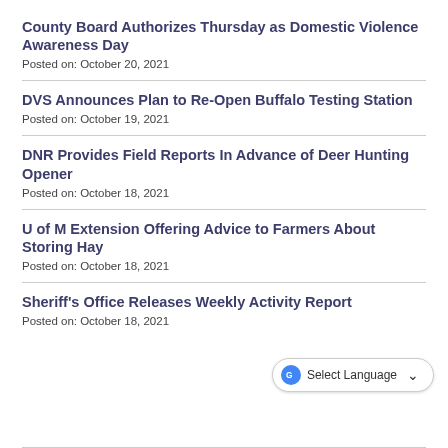County Board Authorizes Thursday as Domestic Violence Awareness Day
Posted on: October 20, 2021
DVS Announces Plan to Re-Open Buffalo Testing Station
Posted on: October 19, 2021
DNR Provides Field Reports In Advance of Deer Hunting Opener
Posted on: October 18, 2021
U of M Extension Offering Advice to Farmers About Storing Hay
Posted on: October 18, 2021
Sheriff's Office Releases Weekly Activity Report
Posted on: October 18, 2021